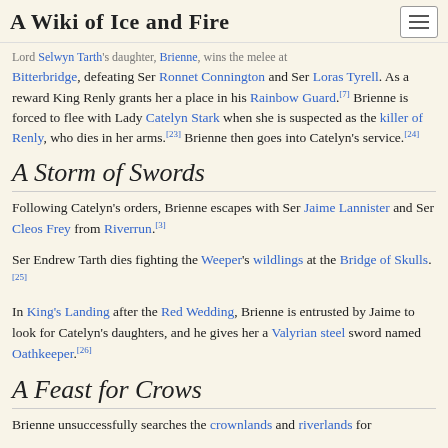A Wiki of Ice and Fire
Lord Selwyn Tarth's daughter, Brienne, wins the melee at Bitterbridge, defeating Ser Ronnet Connington and Ser Loras Tyrell. As a reward King Renly grants her a place in his Rainbow Guard.[7] Brienne is forced to flee with Lady Catelyn Stark when she is suspected as the killer of Renly, who dies in her arms.[23] Brienne then goes into Catelyn's service.[24]
A Storm of Swords
Following Catelyn's orders, Brienne escapes with Ser Jaime Lannister and Ser Cleos Frey from Riverrun.[3]
Ser Endrew Tarth dies fighting the Weeper's wildlings at the Bridge of Skulls.[25]
In King's Landing after the Red Wedding, Brienne is entrusted by Jaime to look for Catelyn's daughters, and he gives her a Valyrian steel sword named Oathkeeper.[26]
A Feast for Crows
Brienne unsuccessfully searches the crownlands and riverlands for